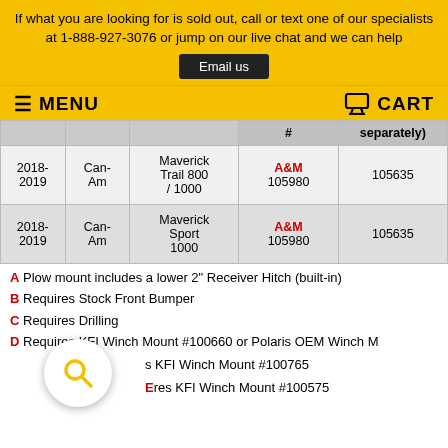If what you are looking for is sold out, call or text one of our specialists at 1-888-927-3076 or jump on our live chat and we can help
Email us
MENU  CART
|  |  |  | # | separately) |
| --- | --- | --- | --- | --- |
| 2018-2019 | Can-Am | Maverick Trail 800 / 1000 | A&M
105980 | 105635 |
| 2018-2019 | Can-Am | Maverick Sport 1000 | A&M
105980 | 105635 |
A Plow mount includes a lower 2" Receiver Hitch (built-in)
B Requires Stock Front Bumper
C Requires Drilling
D Requires KFI Winch Mount #100660 or Polaris OEM Winch M
s KFI Winch Mount #100765
res KFI Winch Mount #100575